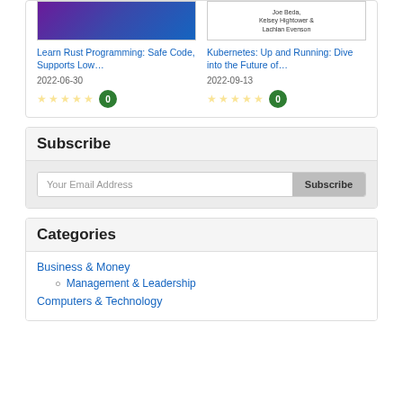Learn Rust Programming: Safe Code, Supports Low…
2022-06-30
☆☆☆☆☆ 0
Kubernetes: Up and Running: Dive into the Future of…
2022-09-13
☆☆☆☆☆ 0
Subscribe
Your Email Address
Subscribe
Categories
Business & Money
Management & Leadership
Computers & Technology